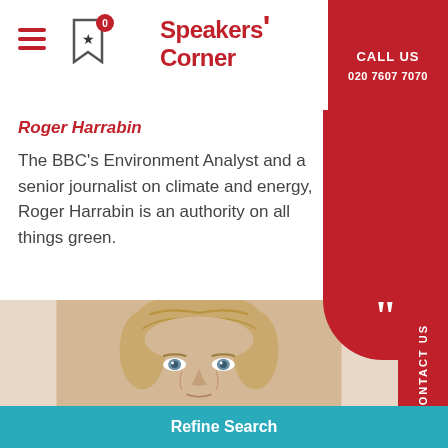Speakers Corner | CALL US 020 7607 7070
Roger Harrabin
The BBC's Environment Analyst and a senior journalist on climate and energy, Roger Harrabin is an authority on all things green.
[Figure (photo): Close-up portrait photo of Roger Harrabin, a middle-aged person with short blonde/light brown hair and blue eyes, against a light background.]
Refine Search